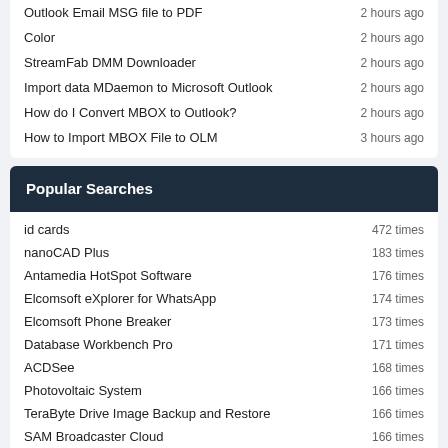Outlook Email MSG file to PDF
Color
StreamFab DMM Downloader
Import data MDaemon to Microsoft Outlook
How do I Convert MBOX to Outlook?
How to Import MBOX File to OLM
Popular Searches
id cards
nanoCAD Plus
Antamedia HotSpot Software
Elcomsoft eXplorer for WhatsApp
Elcomsoft Phone Breaker
Database Workbench Pro
ACDSee
Photovoltaic System
TeraByte Drive Image Backup and Restore
SAM Broadcaster Cloud